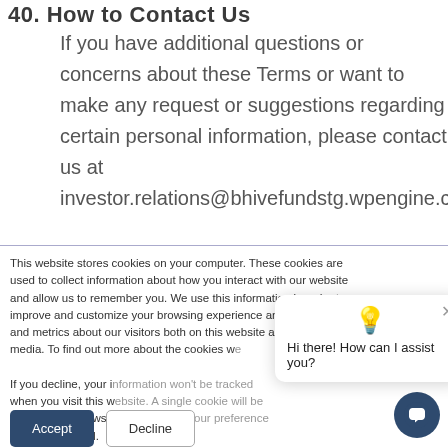40. How to Contact Us
If you have additional questions or concerns about these Terms or want to make any request or suggestions regarding certain personal information, please contact us at investor.relations@bhivefundstg.wpengine.com
This website stores cookies on your computer. These cookies are used to collect information about how you interact with our website and allow us to remember you. We use this information in order to improve and customize your browsing experience and for analytics and metrics about our visitors both on this website and other media. To find out more about the cookies we use...
If you decline, your information won't be tracked when you visit this website. A single cookie will be used in your browser to remember your preference not to be tracked.
[Figure (screenshot): Chat popup with lightbulb emoji and message 'Hi there! How can I assist you?' with a close (x) button]
Accept
Decline